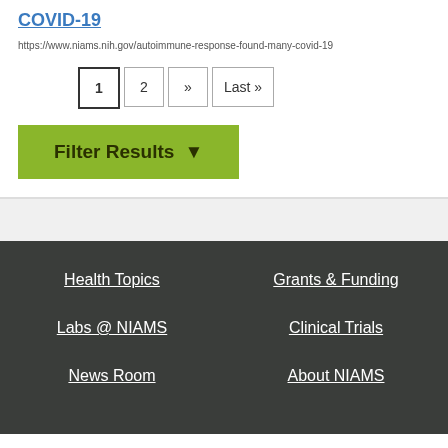COVID-19
https://www.niams.nih.gov/autoimmune-response-found-many-covid-19
Pagination: 1, 2, >>, Last»
Filter Results
Health Topics | Grants & Funding | Labs @ NIAMS | Clinical Trials | News Room | About NIAMS